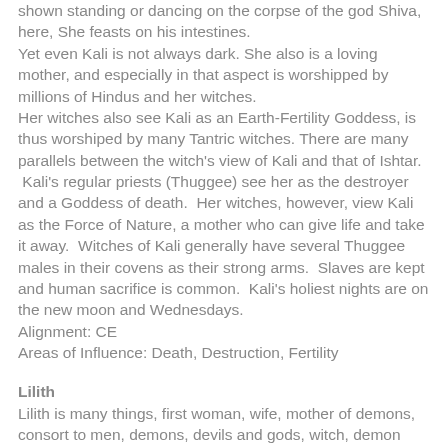shown standing or dancing on the corpse of the god Shiva, here, She feasts on his intestines.
Yet even Kali is not always dark. She also is a loving mother, and especially in that aspect is worshipped by millions of Hindus and her witches.
Her witches also see Kali as an Earth-Fertility Goddess, is thus worshiped by many Tantric witches. There are many parallels between the witch's view of Kali and that of Ishtar. Kali's regular priests (Thuggee) see her as the destroyer and a Goddess of death. Her witches, however, view Kali as the Force of Nature, a mother who can give life and take it away. Witches of Kali generally have several Thuggee males in their covens as their strong arms. Slaves are kept and human sacrifice is common. Kali's holiest nights are on the new moon and Wednesdays.
Alignment: CE
Areas of Influence: Death, Destruction, Fertility
Lilith
Lilith is many things, first woman, wife, mother of demons, consort to men, demons, devils and gods, witch, demon and Goddess.
Lilith was the first wife of Adam, the first man. Adam created...